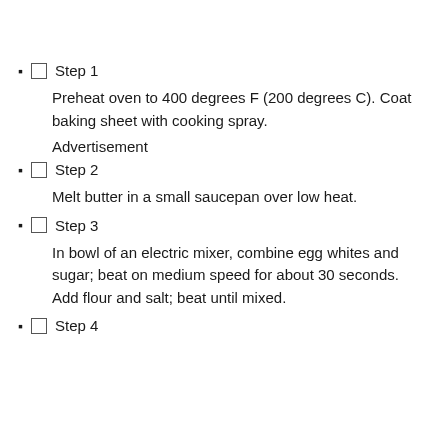Step 1
Preheat oven to 400 degrees F (200 degrees C). Coat baking sheet with cooking spray.
Advertisement
Step 2
Melt butter in a small saucepan over low heat.
Step 3
In bowl of an electric mixer, combine egg whites and sugar; beat on medium speed for about 30 seconds. Add flour and salt; beat until mixed.
Step 4